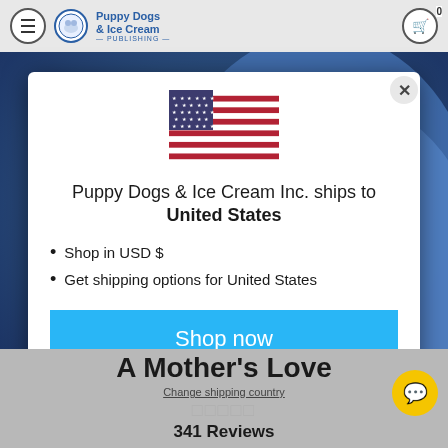Puppy Dogs & Ice Cream — Publishing
[Figure (screenshot): Book cover background showing illustrated animals, with text overlay: Written by: Mattee Ja Morning, Illustrated by: Tracy La Rue Hohn]
Puppy Dogs & Ice Cream Inc. ships to United States
Shop in USD $
Get shipping options for United States
Shop now
A Mother's Love
Change shipping country
341 Reviews